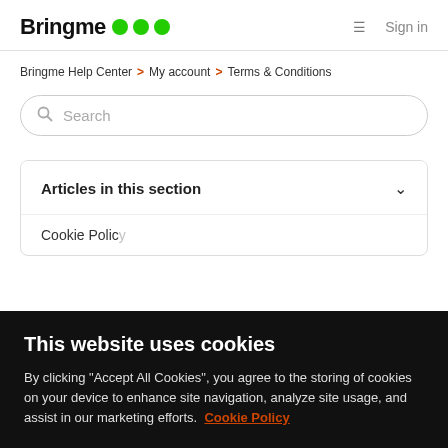Bringme ••• Sign in
Bringme Help Center > My account > Terms & Conditions
Search
Articles in this section
Cookie Policy
This website uses cookies
By clicking "Accept All Cookies", you agree to the storing of cookies on your device to enhance site navigation, analyze site usage, and assist in our marketing efforts. Cookie Policy